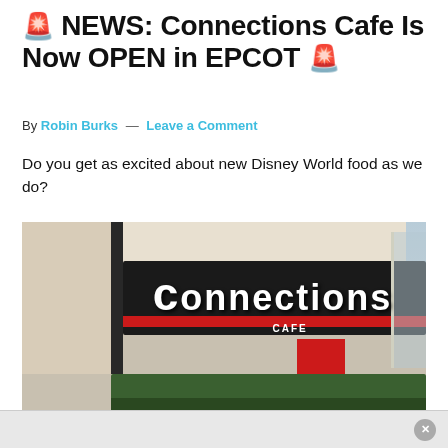🚨 NEWS: Connections Cafe Is Now OPEN in EPCOT 🚨
By Robin Burks — Leave a Comment
Do you get as excited about new Disney World food as we do?
[Figure (photo): Exterior photo of the Connections Cafe sign at EPCOT, showing large white 3D letters spelling 'connections' on a dark canopy with 'CAFE' below, red accent panel, green hedges in foreground, and building facade visible.]